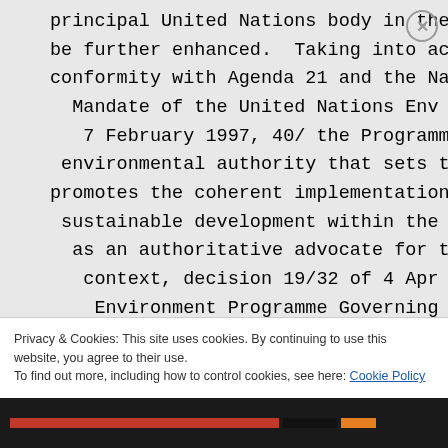principal United Nations body in the be further enhanced. Taking into account conformity with Agenda 21 and the Na Mandate of the United Nations Env 7 February 1997, 40/ the Programme environmental authority that sets t promotes the coherent implementation sustainable development within the U as an authoritative advocate for t context, decision 19/32 of 4 Apr Environment Programme Governing
Privacy & Cookies: This site uses cookies. By continuing to use this website, you agree to their use.
To find out more, including how to control cookies, see here: Cookie Policy
Close and accept